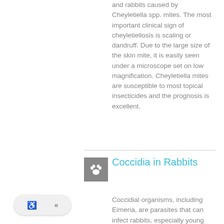and rabbits caused by Cheyletiella spp. mites. The most important clinical sign of cheyletiellosis is scaling or dandruff. Due to the large size of the skin mite, it is easily seen under a microscope set on low magnification. Cheyletiella mites are susceptible to most topical insecticides and the prognosis is excellent.
Coccidia in Rabbits
Coccidial organisms, including Eimeria, are parasites that can infect rabbits, especially young and recently